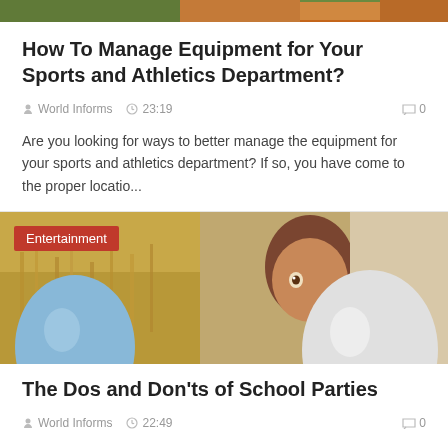[Figure (photo): Top portion of a sports/athletics image showing grass and orange equipment]
How To Manage Equipment for Your Sports and Athletics Department?
World Informs  23:19  0
Are you looking for ways to better manage the equipment for your sports and athletics department? If so, you have come to the proper locatio...
[Figure (photo): Child peeking over balloons in a field of wheat, with Entertainment badge overlay]
The Dos and Don'ts of School Parties
World Informs  22:49  0